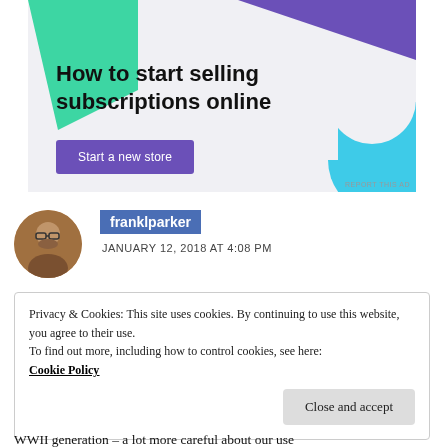[Figure (screenshot): Advertisement banner: 'How to start selling subscriptions online' with a purple 'Start a new store' button, decorative green triangle and cyan shape, light grey background. Small 'REPORT THIS AD' text at bottom right.]
franklparker
JANUARY 12, 2018 AT 4:08 PM
Privacy & Cookies: This site uses cookies. By continuing to use this website, you agree to their use.
To find out more, including how to control cookies, see here:
Cookie Policy
Close and accept
WWII generation – a lot more careful about our use